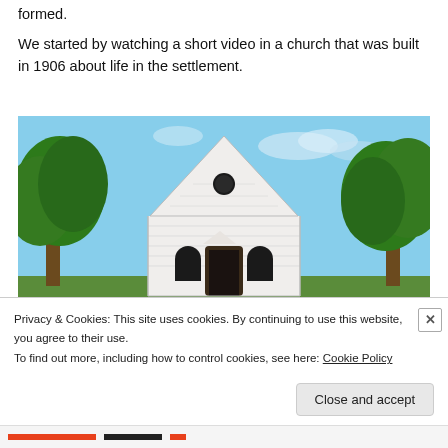formed.
We started by watching a short video in a church that was built in 1906 about life in the settlement.
[Figure (photo): A white wooden church building built in 1906, with a pointed steeple and arched windows, surrounded by green trees under a blue sky.]
Privacy & Cookies: This site uses cookies. By continuing to use this website, you agree to their use.
To find out more, including how to control cookies, see here: Cookie Policy
Close and accept